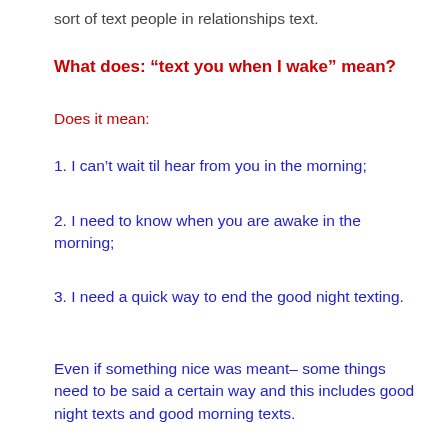sort of text people in relationships text.
What does: “text you when I wake” mean?
Does it mean:
1. I can’t wait til hear from you in the morning;
2. I need to know when you are awake in the morning;
3. I need a quick way to end the good night texting.
Even if something nice was meant– some things need to be said a certain way and this includes good night texts and good morning texts.